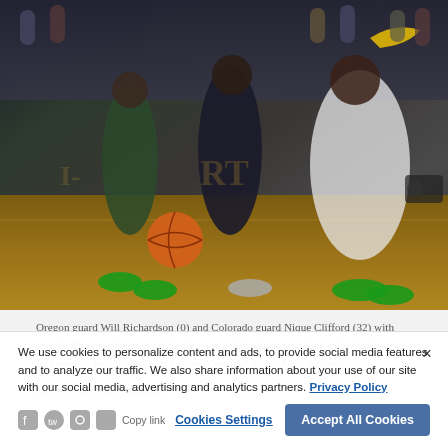[Figure (photo): Basketball game photo: Oregon guard Will Richardson (0) and Colorado guard Nique Clifford (32) with another Oregon player scramble for a loose ball during a college basketball game on Tuesday, Jan. 25, 2022, in Eugene, Ore. (AP Photo/Andy Nelson)]
Oregon guard Will Richardson (0) and Colorado guard Nique Clifford (32) with another Oregon player scramble for a loose ball during a college basketball game on Tuesday, Jan. 25, 2022, in Eugene, Ore. (AP Photo/Andy Nelson)
Jan. 25, 2022 10:57 PM EST
We use cookies to personalize content and ads, to provide social media features and to analyze our traffic. We also share information about your use of our site with our social media, advertising and analytics partners. Privacy Policy